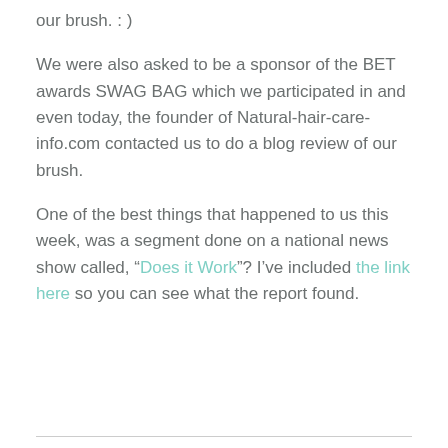our brush. : )
We were also asked to be a sponsor of the BET awards SWAG BAG which we participated in and even today, the founder of Natural-hair-care-info.com contacted us to do a blog review of our brush.
One of the best things that happened to us this week, was a segment done on a national news show called, “Does it Work”? I’ve included the link here so you can see what the report found.